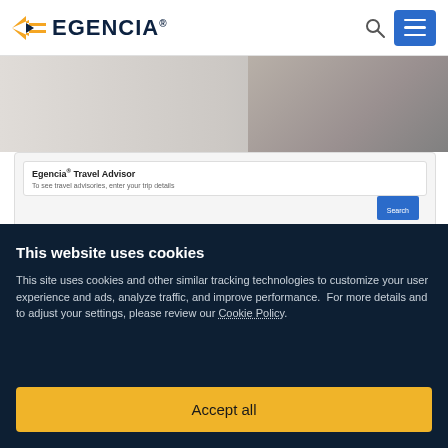Egencia® — navigation bar with logo, search icon, and menu button
[Figure (screenshot): Egencia Travel Advisor UI card showing 'Egencia® Travel Advisor' title and subtitle 'To see travel advisories, enter your trip details']
This website uses cookies
This site uses cookies and other similar tracking technologies to customize your user experience and ads, analyze traffic, and improve performance.  For more details and to adjust your settings, please review our Cookie Policy.